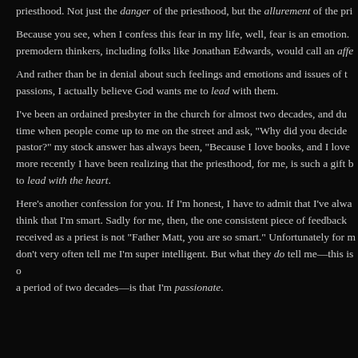priesthood. Not just the danger of the priesthood, but the allurement of the priesthood.
Because you see, when I confess this fear in my life, well, fear is an emotion. premodern thinkers, including folks like Jonathan Edwards, would call an affe
And rather than be in denial about such feelings and emotions and issues of t passions, I actually believe God wants me to lead with them.
I've been an ordained presbyter in the church for almost two decades, and du time when people come up to me on the street and ask, "Why did you decide pastor?" my stock answer has always been, "Because I love books, and I love more recently I have been realizing that the priesthood, for me, is such a gift b to lead with the heart.
Here's another confession for you. If I'm honest, I have to admit that I've alwa think that I'm smart. Sadly for me, then, the one consistent piece of feedback received as a priest is not "Father Matt, you are so smart." Unfortunately for m don't very often tell me I'm super intelligent. But what they do tell me—this is o a period of two decades—is that I'm passionate.